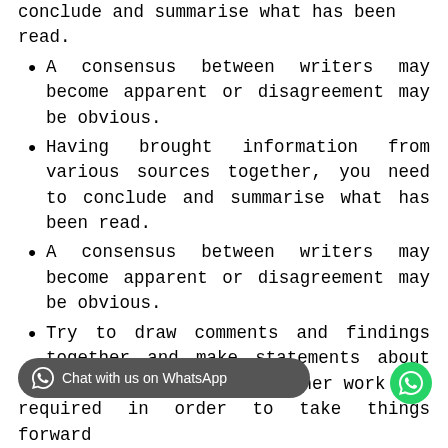conclude and summarise what has been read.
A consensus between writers may become apparent or disagreement may be obvious.
Having brought information from various sources together, you need to conclude and summarise what has been read.
A consensus between writers may become apparent or disagreement may be obvious.
Try to draw comments and findings together and make statements about what you have found.
further work may be required in order to take things forward